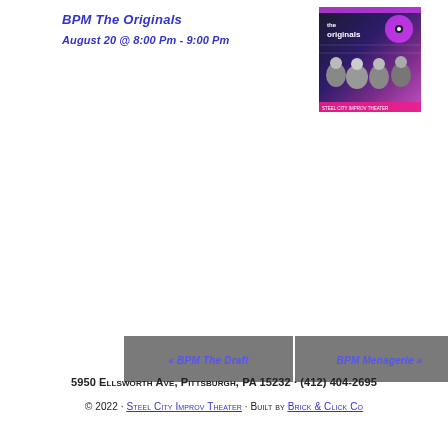BPM The Originals
August 20 @ 8:00 pm - 9:00 pm
[Figure (photo): Promotional image for 'The Originals' at Steel City Improv Theater showing four people posing together with colorful pink/purple background and a vinyl record graphic]
« BPM The Draft
BPM Menagerie »
5950 Ellsworth Ave, Pittsburgh, PA 15232 · (412) 404-2695
© 2022 · Steel City Improv Theater · Built by Brick & Click Co